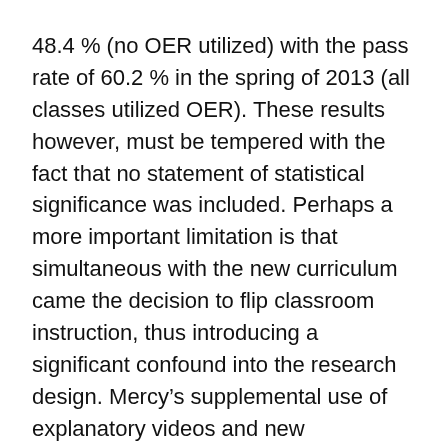48.4 % (no OER utilized) with the pass rate of 60.2 % in the spring of 2013 (all classes utilized OER). These results however, must be tempered with the fact that no statement of statistical significance was included. Perhaps a more important limitation is that simultaneous with the new curriculum came the decision to flip classroom instruction, thus introducing a significant confound into the research design. Mercy’s supplemental use of explanatory videos and new pedagogical model may be responsible for the change in student performance, rather than the OER.
In addition to the change in the math curriculum, Mercy College also adopted OER components